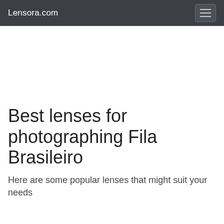Lensora.com
Best lenses for photographing Fila Brasileiro
Here are some popular lenses that might suit your needs